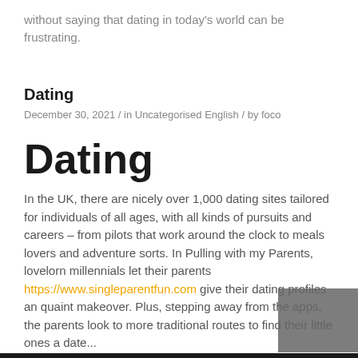without saying that dating in today’s world can be frustrating.
Dating
December 30, 2021  /  in Uncategorised English  /  by foco
Dating
In the UK, there are nicely over 1,000 dating sites tailored for individuals of all ages, with all kinds of pursuits and careers – from pilots that work around the clock to meals lovers and adventure sorts. In Pulling with my Parents, lovelorn millennials let their parents https://www.singleparentfun.com give their dating profiles an quaint makeover. Plus, stepping away from the apps, the parents look to more traditional routes to find their little ones a date...